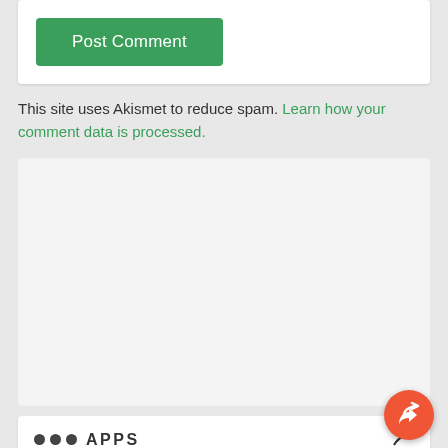[Figure (screenshot): Green Post Comment button inside a white card]
This site uses Akismet to reduce spam. Learn how your comment data is processed.
[Figure (other): Empty light gray advertisement block]
[Figure (other): Bottom white card partial with three dots and APPS text and a bird icon]
[Figure (other): Orange circular share/reply button in bottom right corner]